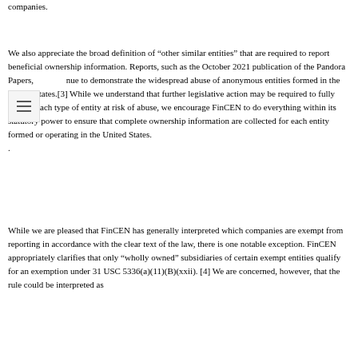companies.
We also appreciate the broad definition of “other similar entities” that are required to report beneficial ownership information. Reports, such as the October 2021 publication of the Pandora Papers, continue to demonstrate the widespread abuse of anonymous entities formed in the United States.[3] While we understand that further legislative action may be required to fully capture each type of entity at risk of abuse, we encourage FinCEN to do everything within its statutory power to ensure that complete ownership information are collected for each entity formed or operating in the United States. .
While we are pleased that FinCEN has generally interpreted which companies are exempt from reporting in accordance with the clear text of the law, there is one notable exception. FinCEN appropriately clarifies that only “wholly owned” subsidiaries of certain exempt entities qualify for an exemption under 31 USC 5336(a)(11)(B)(xxii). [4] We are concerned, however, that the rule could be interpreted as